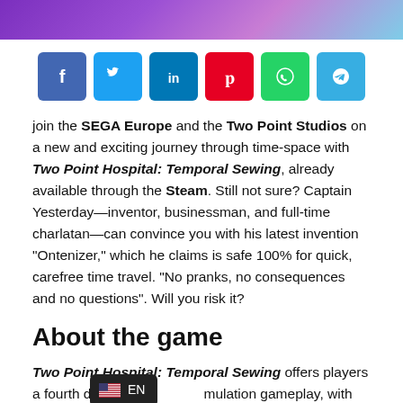[Figure (illustration): Purple/blue gradient banner with game artwork at top of page]
[Figure (infographic): Row of six social media share buttons: Facebook (dark blue), Twitter (light blue), LinkedIn (dark blue), Pinterest (red), WhatsApp (green), Telegram (light blue)]
join the SEGA Europe and the Two Point Studios on a new and exciting journey through time-space with Two Point Hospital: Temporal Sewing, already available through the Steam. Still not sure? Captain Yesterday—inventor, businessman, and full-time charlatan—can convince you with his latest invention “Ontenizer,” which he claims is safe 100% for quick, carefree time travel. “No pranks, no consequences and no questions”. Will you risk it?
About the game
Two Point Hospital: Temporal Sewing offers players a fourth dimensional simulation gameplay, with new challenges and